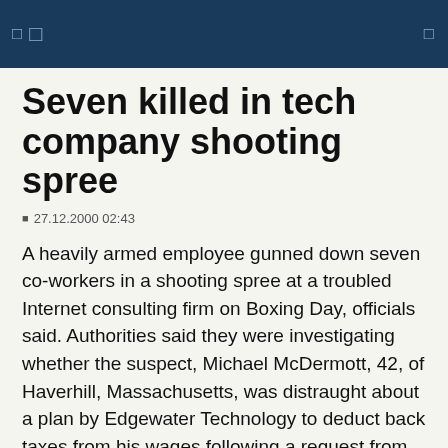Seven killed in tech company shooting spree
27.12.2000 02:43
A heavily armed employee gunned down seven co-workers in a shooting spree at a troubled Internet consulting firm on Boxing Day, officials said. Authorities said they were investigating whether the suspect, Michael McDermott, 42, of Haverhill, Massachusetts, was distraught about a plan by Edgewater Technology to deduct back taxes from his wages following a request from the Internal Revenue Service. Authorities said McDermott, a 300-pound man with a big beard, used an AK-47-style semi-automatic assault rifle and a 12-gauge